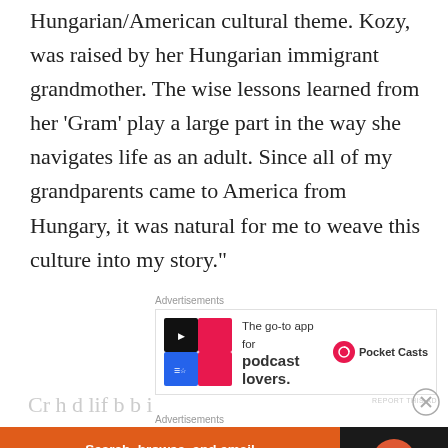Hungarian/American cultural theme. Kozy, was raised by her Hungarian immigrant grandmother. The wise lessons learned from her ‘Gram’ play a large part in the way she navigates life as an adult. Since all of my grandparents came to America from Hungary, it was natural for me to weave this culture into my story.”
[Figure (infographic): Advertisement for Pocket Casts app: 'The go-to app for podcast lovers.' with Pocket Casts logo]
Advertisements
[Figure (infographic): Advertisement for DuckDuckGo: 'Search, browse, and email with more privacy. All in One Free App' with DuckDuckGo logo on dark background]